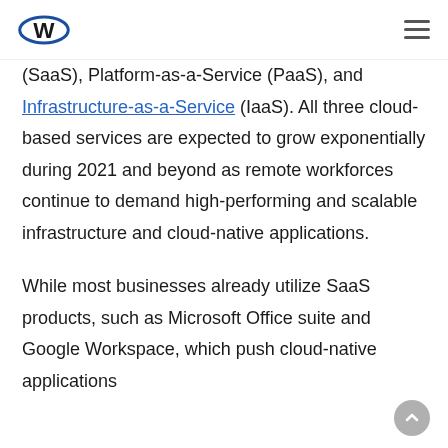W logo and hamburger menu
(SaaS), Platform-as-a-Service (PaaS), and Infrastructure-as-a-Service (IaaS). All three cloud-based services are expected to grow exponentially during 2021 and beyond as remote workforces continue to demand high-performing and scalable infrastructure and cloud-native applications.
While most businesses already utilize SaaS products, such as Microsoft Office suite and Google Workspace, which push cloud-native applications